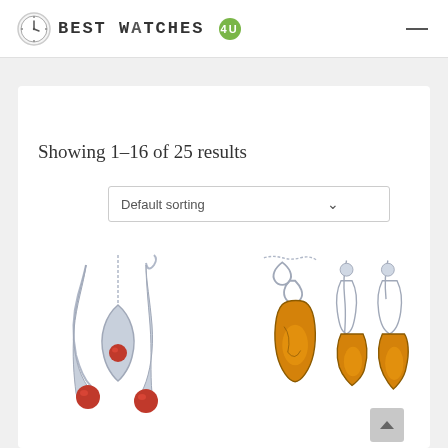BEST WATCHES 4U
Showing 1–16 of 25 results
Default sorting
[Figure (photo): Silver jewelry set with red coral stones – necklace and earrings on white background]
[Figure (photo): Silver and amber jewelry set – pendant necklace with chain and drop earrings with amber stones]